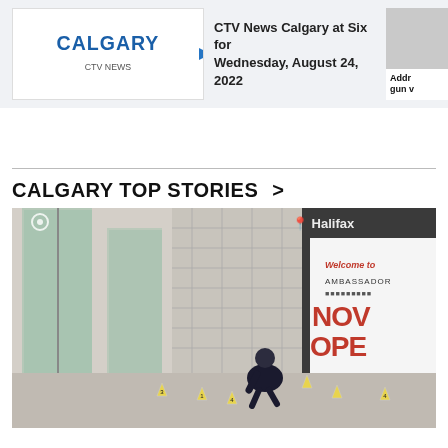[Figure (screenshot): CTV News Calgary video thumbnail with Calgary title in blue and play button]
CTV News Calgary at Six for Wednesday, August 24, 2022
Addr gun v
CALGARY TOP STORIES >
[Figure (photo): Crime scene photo showing a police officer crouching near yellow evidence markers outside a building. A Halifax Ambassador hotel sign reading NOW OPEN is visible on the right. Location pins visible in top corners.]